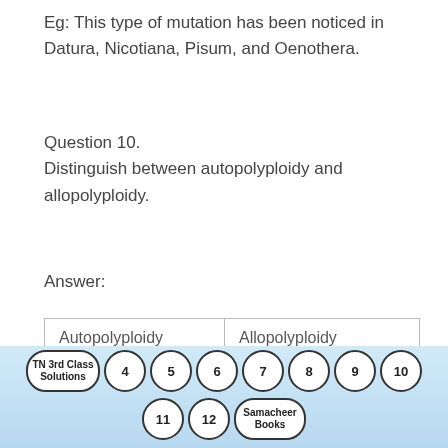Eg: This type of mutation has been noticed in Datura, Nicotiana, Pisum, and Oenothera.
Question 10.
Distinguish between autopolyploidy and allopolyploidy.
Answer:
| Autopolyploidy | Allopolyploidy |
| --- | --- |
| Autopolyploidy is the condition in which an | Allopolyploidy is the condition in which |
[Figure (infographic): Navigation bar with circular buttons: TN 3rd Class Solutions, 4, 5, 6, 7, 8, 9, 10 in top row; 11, 12, Samacheer Books in bottom row]